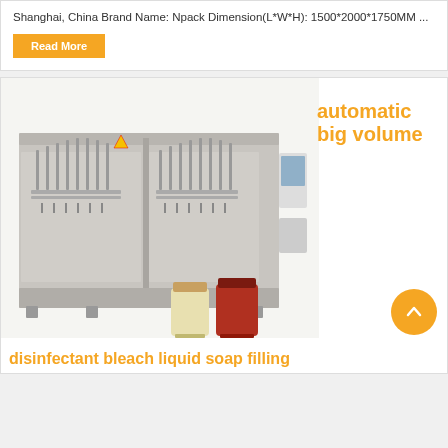Shanghai, China Brand Name: Npack Dimension(L*W*H): 1500*2000*1750MM ...
Read More
[Figure (photo): Industrial automatic liquid filling machine with multiple nozzles and stainless steel frame, and two glass jars (one yellow-white, one red) shown in front]
automatic big volume
disinfectant bleach liquid soap filling